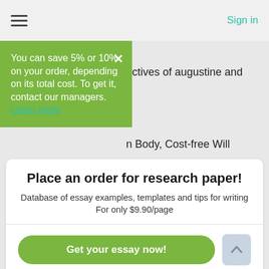Sign in
You can save 5% or 10% on your order, depending on its total cost. To get it, contact our managers. Learn more
ectives of augustine and
n Body, Cost-free Will
Place an order for research paper!
Database of essay examples, templates and tips for writing For only $9.90/page
Get your essay now!